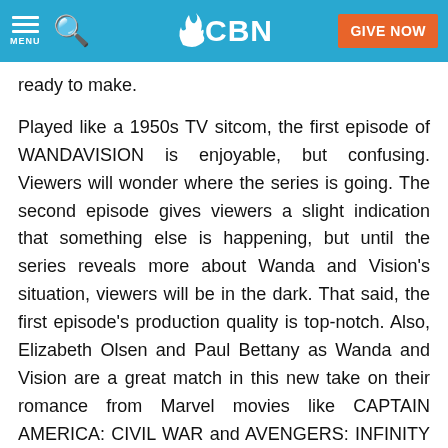CBN — GIVE NOW
ready to make.
Played like a 1950s TV sitcom, the first episode of WANDAVISION is enjoyable, but confusing. Viewers will wonder where the series is going. The second episode gives viewers a slight indication that something else is happening, but until the series reveals more about Wanda and Vision's situation, viewers will be in the dark. That said, the first episode's production quality is top-notch. Also, Elizabeth Olsen and Paul Bettany as Wanda and Vision are a great match in this new take on their romance from Marvel movies like CAPTAIN AMERICA: CIVIL WAR and AVENGERS: INFINITY WAR. The laugh track is annoying, however.